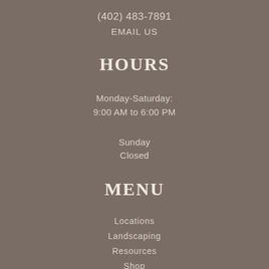(402) 483-7891
EMAIL US
HOURS
Monday-Saturday:
9:00 AM to 6:00 PM
Sunday
Closed
MENU
Locations
Landscaping
Resources
Shop